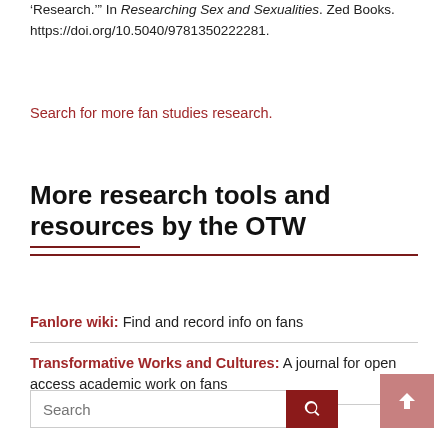'Research.'” In Researching Sex and Sexualities. Zed Books. https://doi.org/10.5040/9781350222281.
Search for more fan studies research.
More research tools and resources by the OTW
Fanlore wiki: Find and record info on fans
Transformative Works and Cultures: A journal for open access academic work on fans